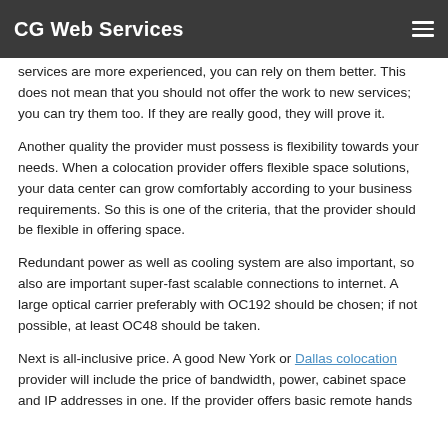CG Web Services
services are more experienced, you can rely on them better. This does not mean that you should not offer the work to new services; you can try them too. If they are really good, they will prove it.
Another quality the provider must possess is flexibility towards your needs. When a colocation provider offers flexible space solutions, your data center can grow comfortably according to your business requirements. So this is one of the criteria, that the provider should be flexible in offering space.
Redundant power as well as cooling system are also important, so also are important super-fast scalable connections to internet. A large optical carrier preferably with OC192 should be chosen; if not possible, at least OC48 should be taken.
Next is all-inclusive price. A good New York or Dallas colocation provider will include the price of bandwidth, power, cabinet space and IP addresses in one. If the provider offers basic remote hands